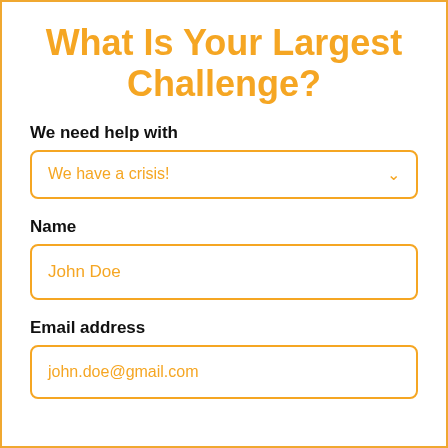What Is Your Largest Challenge?
We need help with
We have a crisis!
Name
John Doe
Email address
john.doe@gmail.com